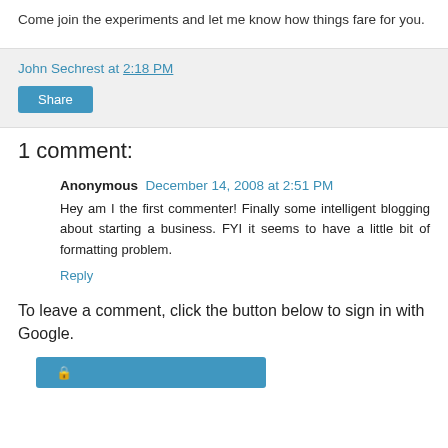Come join the experiments and let me know how things fare for you.
John Sechrest at 2:18 PM
Share
1 comment:
Anonymous December 14, 2008 at 2:51 PM
Hey am I the first commenter! Finally some intelligent blogging about starting a business. FYI it seems to have a little bit of formatting problem.
Reply
To leave a comment, click the button below to sign in with Google.